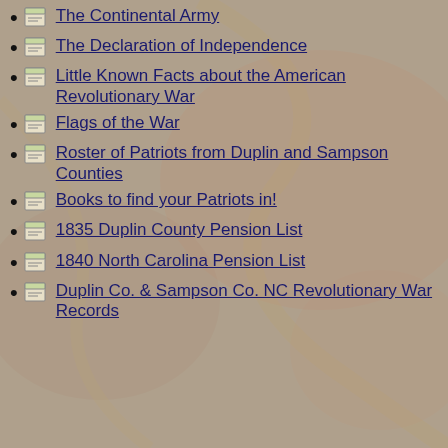The Continental Army
The Declaration of Independence
Little Known Facts about the American Revolutionary War
Flags of the War
Roster of Patriots from Duplin and Sampson Counties
Books to find your Patriots in!
1835 Duplin County Pension List
1840 North Carolina Pension List
Duplin Co. & Sampson Co. NC Revolutionary War Records